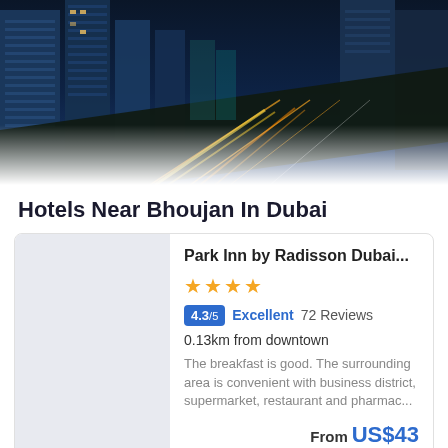[Figure (photo): Aerial view of Dubai city skyscrapers and highway at night with light trails]
Hotels Near Bhoujan In Dubai
Park Inn by Radisson Dubai...
4.3/5 Excellent 72 Reviews
0.13km from downtown
The breakfast is good. The surrounding area is convenient with business district, supermarket, restaurant and pharmac...
From US$43